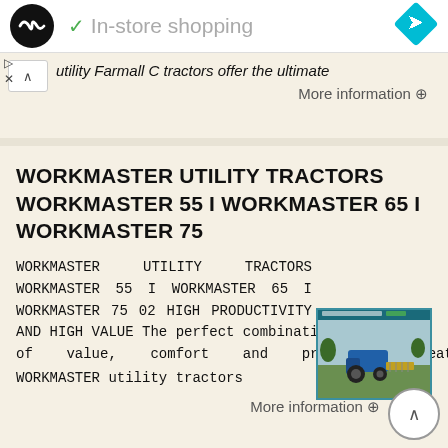In-store shopping
utility Farmall C tractors offer the ultimate
More information →
WORKMASTER UTILITY TRACTORS WORKMASTER 55 I WORKMASTER 65 I WORKMASTER 75
WORKMASTER UTILITY TRACTORS WORKMASTER 55 I WORKMASTER 65 I WORKMASTER 75 02 HIGH PRODUCTIVITY AND HIGH VALUE The perfect combination of value, comfort and productive features. WORKMASTER utility tractors
[Figure (photo): Product brochure thumbnail showing a blue tractor in a field, WORKMASTER UTILITY TRACTORS brochure cover]
More information →